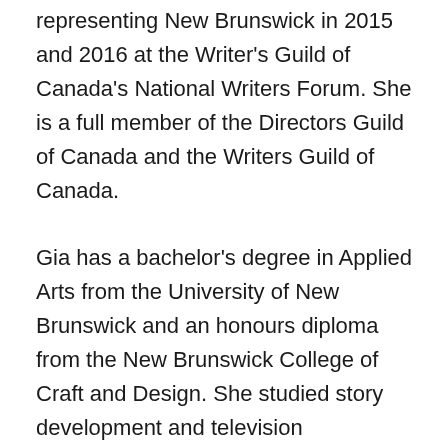representing New Brunswick in 2015 and 2016 at the Writer's Guild of Canada's National Writers Forum. She is a full member of the Directors Guild of Canada and the Writers Guild of Canada.
Gia has a bachelor's degree in Applied Arts from the University of New Brunswick and an honours diploma from the New Brunswick College of Craft and Design. She studied story development and television development through UCLA and continued her education with directing coach Judith Weston in Los Angeles.